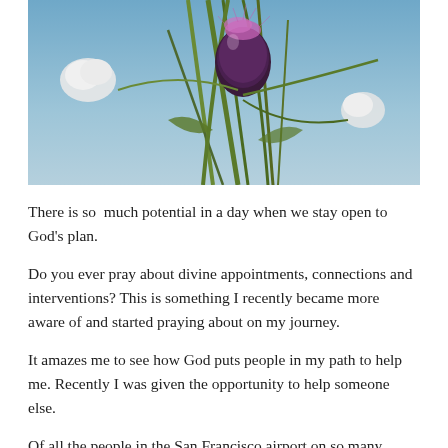[Figure (photo): Close-up photograph of a purple thistle flower with spiky seed head and surrounding plant stems against a blue sky background]
There is so  much potential in a day when we stay open to God's plan.
Do you ever pray about divine appointments, connections and interventions? This is something I recently became more aware of and started praying about on my journey.
It amazes me to see how God puts people in my path to help me. Recently I was given the opportunity to help someone else.
Of all the people in the San Francisco airport on so many different flights and headed to different destinations, each on their own unique journey, God